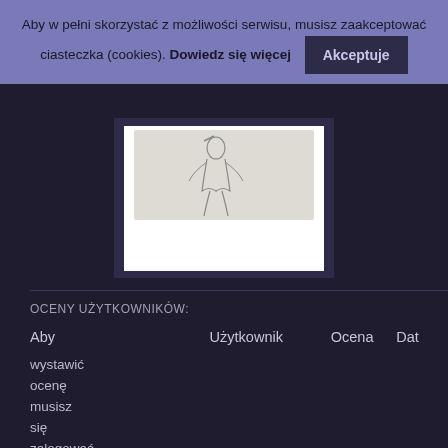Aby w pełni skorzystać z możliwości serwisu, musisz zaakceptować ciasteczka (cookies). Dowiedz się więcej  Akceptuję
[Figure (illustration): Partial view of a book or artwork with a pencil sketch image on white background, set against a dark background]
OCENY UŻYTKOWNIKÓW:
| Aby wystawić ocenę musisz się zalogować
Wszystkie oceny
Średnia:
0,00
Liczba: 0 | Użytkownik | Ocena | Data |
| --- | --- | --- | --- |